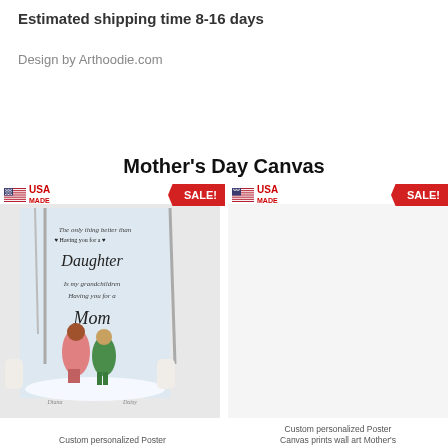Estimated shipping time 8-16 days
Design by Arthoodie.com
Mother's Day Canvas
[Figure (photo): Left product card showing a personalized Mother's Day canvas print with two characters in winter scene, USA MADE badge, SALE! badge]
Custom personalized Poster
[Figure (photo): Right product card showing another Mother's Day canvas, USA MADE badge, SALE! badge]
Custom personalized Poster Canvas prints wall art Mother's